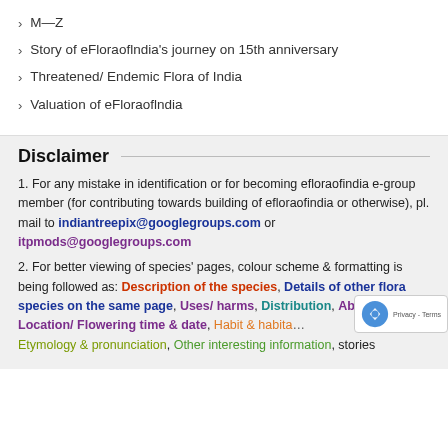M—Z
Story of eFloraoflndia's journey on 15th anniversary
Threatened/ Endemic Flora of India
Valuation of eFloraoflndia
Disclaimer
1. For any mistake in identification or for becoming efloraofindia e-group member (for contributing towards building of efloraofindia or otherwise), pl. mail to indiantreepix@googlegroups.com or itpmods@googlegroups.com
2. For better viewing of species' pages, colour scheme & formatting is being followed as: Description of the species, Details of other flora species on the same page, Uses/ harms, Distribution, Abundance/ Location/ Flowering time & date, Habit & habitat, Etymology & pronunciation, Other interesting information, stories